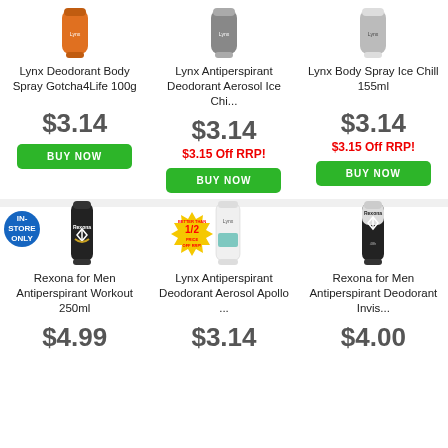[Figure (photo): Lynx Deodorant Body Spray Gotcha4Life 100g - orange can product image]
Lynx Deodorant Body Spray Gotcha4Life 100g
$3.14
BUY NOW
[Figure (photo): Lynx Antiperspirant Deodorant Aerosol Ice Chi... - grey can product image]
Lynx Antiperspirant Deodorant Aerosol Ice Chi...
$3.14
$3.15 Off RRP!
BUY NOW
[Figure (photo): Lynx Body Spray Ice Chill 155ml - silver can product image]
Lynx Body Spray Ice Chill 155ml
$3.14
$3.15 Off RRP!
BUY NOW
[Figure (photo): Rexona for Men Antiperspirant Workout 250ml - black can with IN-STORE ONLY badge]
Rexona for Men Antiperspirant Workout 250ml
$4.99
[Figure (photo): Lynx Antiperspirant Deodorant Aerosol Apollo ... - white can with Better Than 1/2 Price Off RRP badge]
Lynx Antiperspirant Deodorant Aerosol Apollo ...
$3.14
[Figure (photo): Rexona for Men Antiperspirant Deodorant Invis... - black and white can product image]
Rexona for Men Antiperspirant Deodorant Invis...
$4.00